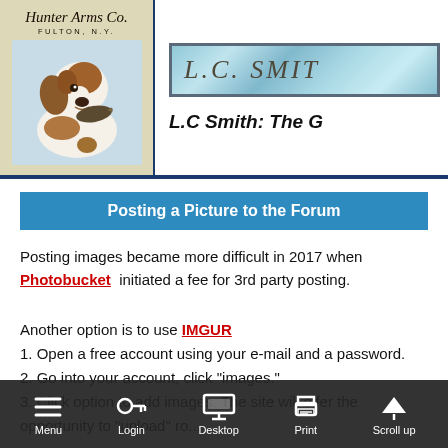[Figure (logo): Hunter Arms Co. logo with dog illustration and L.C. Smith banner header]
Posting a Picture to the Forum
Posting images became more difficult in 2017 when Photobucket initiated a fee for 3rd party posting.
Another option is to use IMGUR
1. Open a free account using your e-mail and a password.
2. Go into your account, click "images."
3. Click option to add images. The site will offer the opportunity to "upload" ro...
4. Click ll...
Menu  Login  Desktop  Print  Scroll up